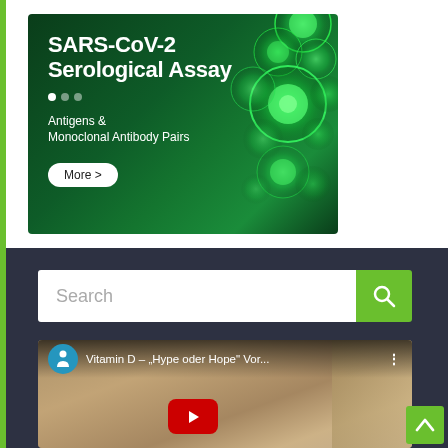[Figure (photo): Dark green promotional banner for SARS-CoV-2 Serological Assay with glowing green cell illustrations on the right. Contains bold white title text, slide indicator dots, subtitle text, and a 'More >' button.]
Search
[Figure (screenshot): Video thumbnail showing an elderly man's face with a YouTube-style play button. Title overlay reads: Vitamin D – „Hype oder Hope" Vor... with a teal channel icon and three-dot menu.]